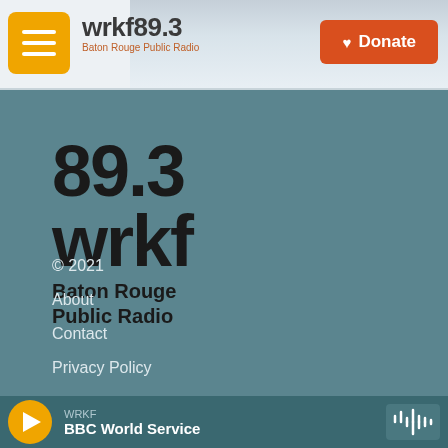[Figure (logo): WRKF 89.3 Baton Rouge Public Radio website header with hamburger menu button, station logo, city skyline background, and orange Donate button]
[Figure (logo): Large 89.3 wrkf Baton Rouge Public Radio logo in black text on teal background]
© 2021
About
Contact
Privacy Policy
WRKF
BBC World Service